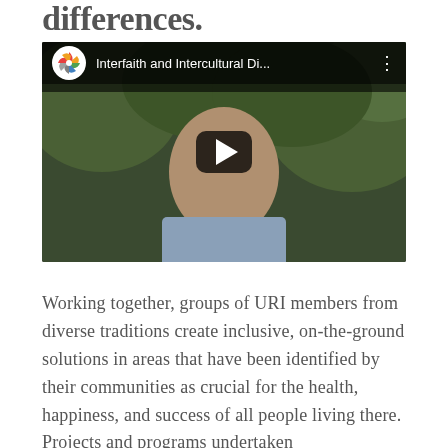differences.
[Figure (screenshot): YouTube video thumbnail showing a man outdoors with greenery in background. Video title: 'Interfaith and Intercultural Di...' with URI colorful pinwheel logo.]
Working together, groups of URI members from diverse traditions create inclusive, on-the-ground solutions in areas that have been identified by their communities as crucial for the health, happiness, and success of all people living there. Projects and programs undertaken